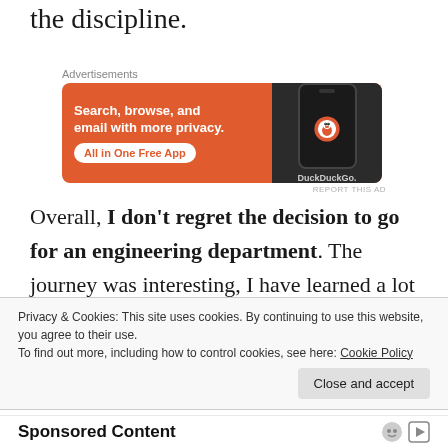the discipline.
[Figure (other): DuckDuckGo advertisement banner: orange background on the left with text 'Search, browse, and email with more privacy. All in One Free App' and a white pill button. Right side shows a dark phone mockup with DuckDuckGo logo and brand name.]
Overall, I don't regret the decision to go for an engineering department. The journey was interesting, I have learned a lot through it, and have developed my academic career this way. In hindsight, it did work
Privacy & Cookies: This site uses cookies. By continuing to use this website, you agree to their use.
To find out more, including how to control cookies, see here: Cookie Policy
Sponsored Content